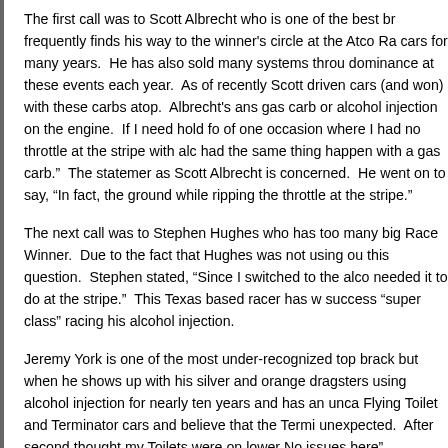The first call was to Scott Albrecht who is one of the best br frequently finds his way to the winner's circle at the Atco Ra cars for many years.  He has also sold many systems throu dominance at these events each year.  As of recently Scott driven cars (and won) with these carbs atop.  Albrecht's ans gas carb or alcohol injection on the engine.  If I need hold fo of one occasion where I had no throttle at the stripe with alc had the same thing happen with a gas carb."  The statemer as Scott Albrecht is concerned.  He went on to say, "In fact, the ground while ripping the throttle at the stripe."
The next call was to Stephen Hughes who has too many big Race Winner.  Due to the fact that Hughes was not using ou this question.  Stephen stated, "Since I switched to the alco needed it to do at the stripe."  This Texas based racer has w success "super class" racing his alcohol injection.
Jeremy York is one of the most under-recognized top brack but when he shows up with his silver and orange dragsters using alcohol injection for nearly ten years and has an unca Flying Toilet and Terminator cars and believe that the Termi unexpected.  After second thought my Toilets were on lower No issues here"
Jim "Shorty" Rader is the 2010 NHRA Division 3 Super Pro